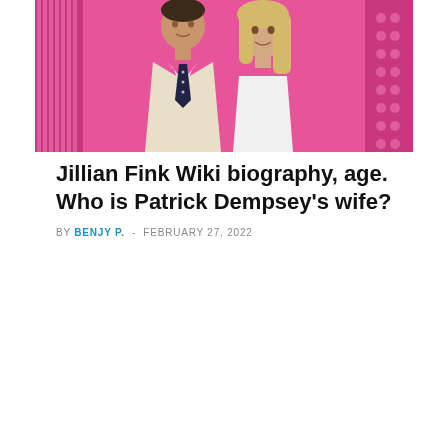[Figure (photo): A man in a light beige suit with a dark polka-dot tie and a woman with blonde hair wearing a white strapless top, both smiling, posed in front of a pink patterned background.]
Jillian Fink Wiki biography, age. Who is Patrick Dempsey's wife?
BY BENJY P. - FEBRUARY 27, 2022